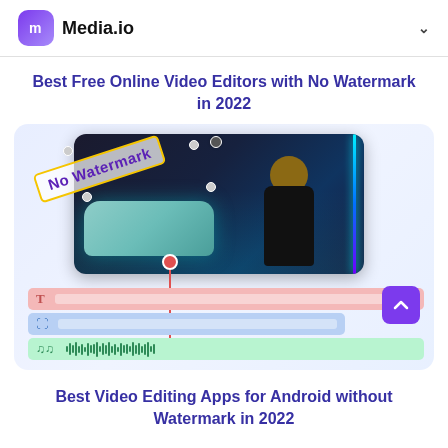Media.io
Best Free Online Video Editors with No Watermark in 2022
[Figure (screenshot): Media.io video editor interface showing a video thumbnail of a person in front of a car with neon lights, a 'No Watermark' badge, and timeline bars for text, image, and audio tracks with a red playhead.]
Best Video Editing Apps for Android without Watermark in 2022